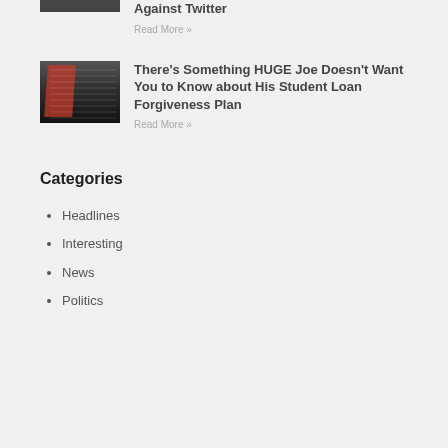[Figure (photo): Partial thumbnail image at top, cropped]
Against Twitter
Read More »
[Figure (photo): Thumbnail image showing crowd silhouettes with red and dark tones, a rally or protest scene]
There's Something HUGE Joe Doesn't Want You to Know about His Student Loan Forgiveness Plan
Read More »
Categories
Headlines
Interesting
News
Politics